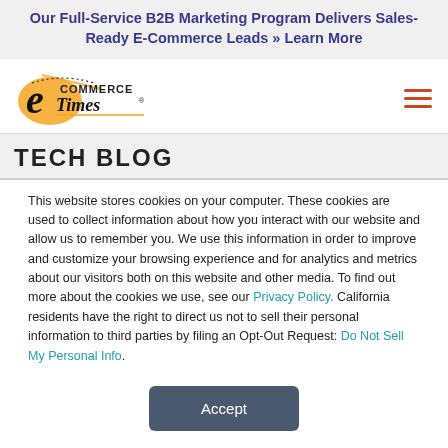Our Full-Service B2B Marketing Program Delivers Sales-Ready E-Commerce Leads » Learn More
[Figure (logo): E-Commerce Times logo with orange swoosh graphic and blackletter 'Times' text]
TECH BLOG
This website stores cookies on your computer. These cookies are used to collect information about how you interact with our website and allow us to remember you. We use this information in order to improve and customize your browsing experience and for analytics and metrics about our visitors both on this website and other media. To find out more about the cookies we use, see our Privacy Policy. California residents have the right to direct us not to sell their personal information to third parties by filing an Opt-Out Request: Do Not Sell My Personal Info.
Accept